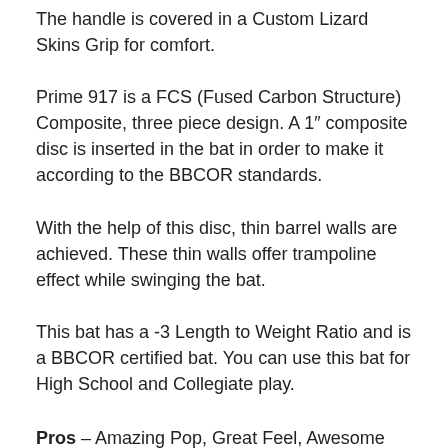The handle is covered in a Custom Lizard Skins Grip for comfort.
Prime 917 is a FCS (Fused Carbon Structure) Composite, three piece design. A 1″ composite disc is inserted in the bat in order to make it according to the BBCOR standards.
With the help of this disc, thin barrel walls are achieved. These thin walls offer trampoline effect while swinging the bat.
This bat has a -3 Length to Weight Ratio and is a BBCOR certified bat. You can use this bat for High School and Collegiate play.
Pros – Amazing Pop, Great Feel, Awesome Grip